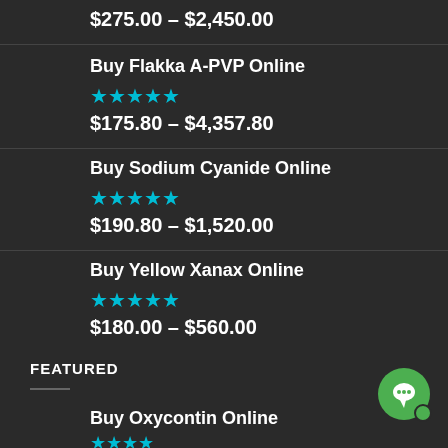$275.00 – $2,450.00
Buy Flakka A-PVP Online
★★★★★
$175.80 – $4,357.80
Buy Sodium Cyanide Online
★★★★★
$190.80 – $1,520.00
Buy Yellow Xanax Online
★★★★★
$180.00 – $560.00
FEATURED
Buy Oxycontin Online
★★★★